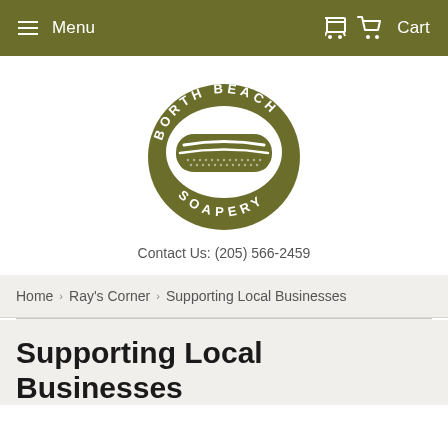Menu  Cart
[Figure (logo): Borth Beach Soapery oval logo in olive green with a bar of soap illustration in the center]
Contact Us: (205) 566-2459
Home › Ray's Corner › Supporting Local Businesses
Supporting Local Businesses